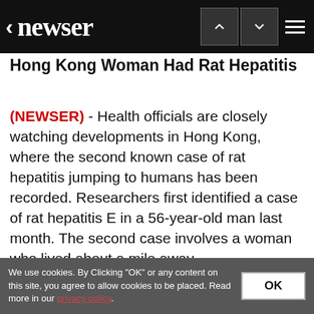newser
Hong Kong Woman had Rat Hepatitis
(NEWSER) - Health officials are closely watching developments in Hong Kong, where the second known case of rat hepatitis jumping to humans has been recorded. Researchers first identified a case of rat hepatitis E in a 56-year-old man last month. The second case involves a woman who lived about a mile away...
We use cookies. By Clicking "OK" or any content on this site, you agree to allow cookies to be placed. Read more in our privacy policy.